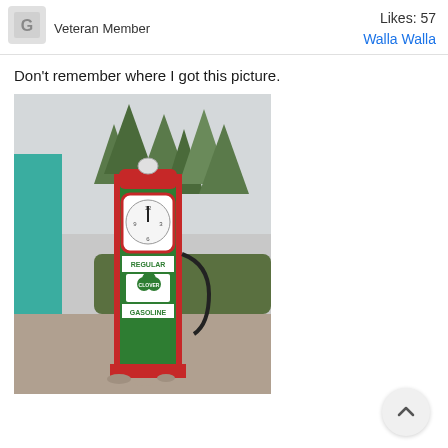Veteran Member
Likes: 57
Walla Walla
Don't remember where I got this picture.
[Figure (photo): Vintage green and red gas pump labeled 'Regular Gasoline' with a shamrock/Clover brand logo, standing outdoors near a teal tarp and evergreen trees.]